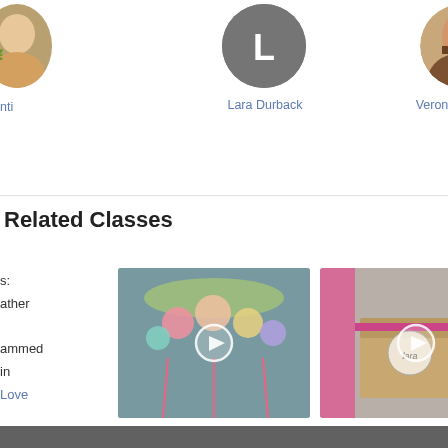[Figure (photo): Partial photo of instructor on far left, cropped]
nti
[Figure (illustration): Gray circle avatar with letter L for Lara Durback]
Lara Durback
[Figure (photo): Photo of Veronica Mezzina smiling, circular crop]
Veronica Mezzina
Me
Related Classes
s:
ather

ammed
in
Love
[Figure (photo): Thumbnail of Cricut Crafts: Paper Flower Chandelier class with play button]
Cricut Crafts: Paper Flower Chandelier
Annabel Wrigley
[Figure (photo): Thumbnail of Cricut Crafts: Color Splash Sticker Labels class with play button]
Cricut Crafts: Color Splash Sticker Labels
Courtney Cerruti
[Figure (photo): Partial thumbnail of third Cricut Crafts class]
Cricut C
C